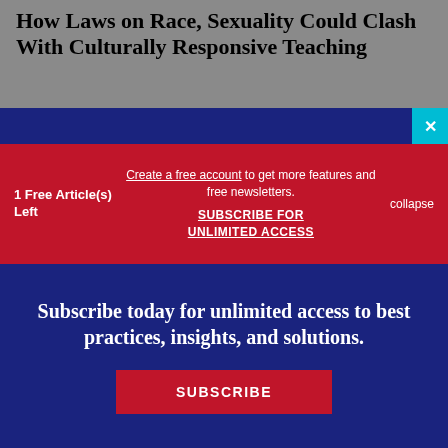How Laws on Race, Sexuality Could Clash With Culturally Responsive Teaching
1 Free Article(s) Left
Create a free account to get more features and free newsletters.
SUBSCRIBE FOR UNLIMITED ACCESS
collapse
Subscribe today for unlimited access to best practices, insights, and solutions.
SUBSCRIBE